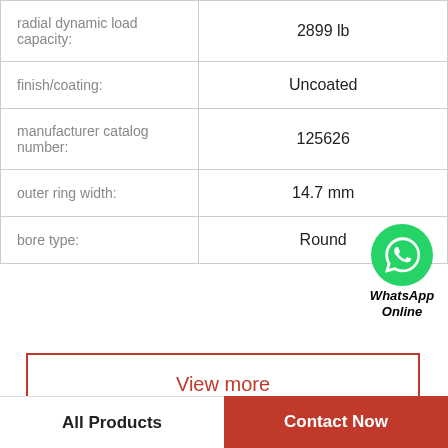| Property | Value |
| --- | --- |
| radial dynamic load capacity: | 2899 lb |
| finish/coating: | Uncoated |
| manufacturer catalog number: | 125626 |
| outer ring width: | 14.7 mm |
| bore type: | Round |
[Figure (logo): WhatsApp green phone icon with label 'WhatsApp Online']
View more
Company Profile
All Products
Contact Now